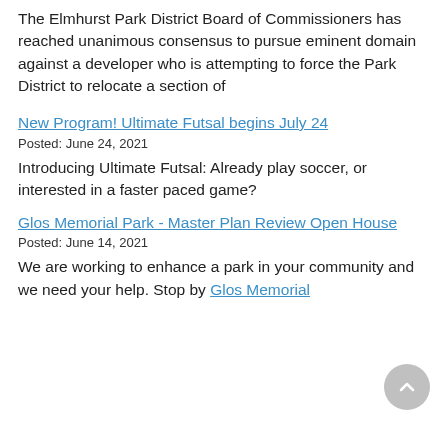The Elmhurst Park District Board of Commissioners has reached unanimous consensus to pursue eminent domain against a developer who is attempting to force the Park District to relocate a section of
New Program! Ultimate Futsal begins July 24
Posted: June 24, 2021
Introducing Ultimate Futsal: Already play soccer, or interested in a faster paced game?
Glos Memorial Park - Master Plan Review Open House
Posted: June 14, 2021
We are working to enhance a park in your community and we need your help. Stop by Glos Memorial